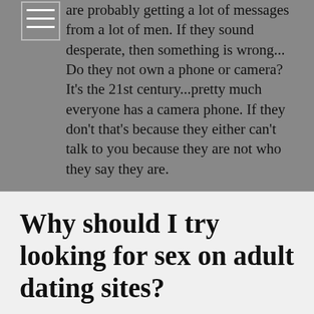are probably getting a lot of messages from a lot of men. If they sound desperate, then something is wrong... Do they not own a phone or camera? It's the 21st century...pretty much everyone has a camera phone. If they don't that's because they either can't talk to you because they are not who they say they are.
Why should I try looking for sex on adult dating sites?
Casual adult dating can be a great thing! It allows you to meet up and hook up with sexy local women who are looking for all sorts of fun. Also, it gives you all of the benefits of dating, such as sex, without you having to give up the fun and excitement of being single and lets you try...